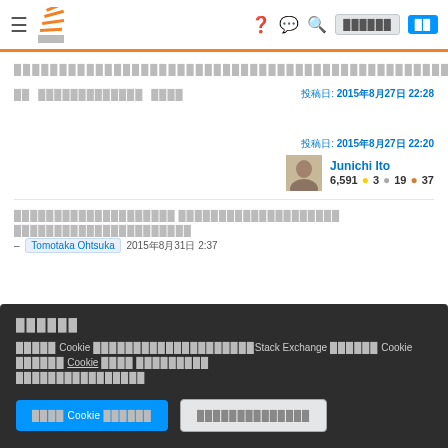Stack Exchange navigation header with logo, hamburger menu, icons, and login buttons
████████████████████████████████████████████████████
██  █████████████  ████     投稿日: 2015年8月27日 22:28
投稿日: 2015年8月27日 22:20
Junichi Ito  6,591 ●3 ●19 ●37
████████████████████ ████████████████████ ██████████████████████ – Tomotaka Ohtsuka 2015年8月31日 2:37
Cookie の設定
あなたの Cookie の設定についてStack Exchange のネットワーク Cookie の設定 Cookie の設定 XXXXXXXX ████████████████████████████████████
すべての Cookie を受け入れる  カスタマイズ設定